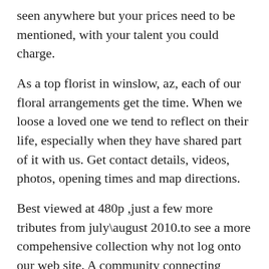seen anywhere but your prices need to be mentioned, with your talent you could charge.
As a top florist in winslow, az, each of our floral arrangements get the time. When we loose a loved one we tend to reflect on their life, especially when they have shared part of it with us. Get contact details, videos, photos, opening times and map directions.
Best viewed at 480p ,just a few more tributes from july\august 2010.to see a more compehensive collection why not log onto our web site. A community connecting cannabis consumers, patients, retailers, doctors, and brands since 2008. Would you like a arrangement or maybe a handtied.
Breathtaking, beyond my wildest dreams, the flowers were